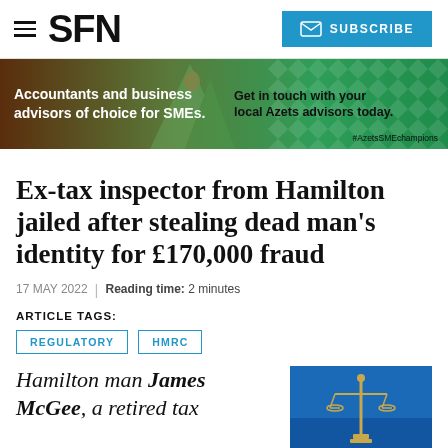SFN | SUBSCRIBE
[Figure (infographic): Advertisement banner: Accountants and business advisors of choice for SMEs. Get in touch with your local Azets advisors today. #AzetsSMEchampions]
Ex-tax inspector from Hamilton jailed after stealing dead man's identity for £170,000 fraud
17 MAY 2022 | Reading time: 2 minutes
ARTICLE TAGS:
REGULATORY
HMRC
Hamilton man James McGee, a retired tax